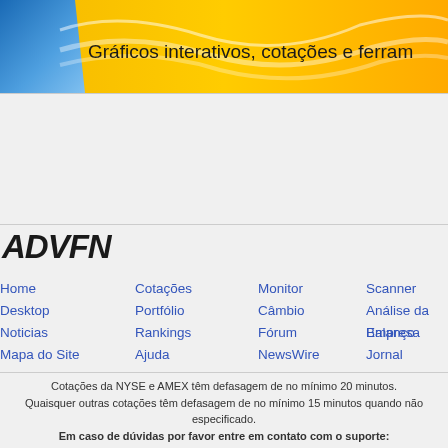[Figure (illustration): ADVFN website banner with blue and gold gradient background, wave pattern, and text 'Gráficos interativos, cotações e ferram']
[Figure (logo): ADVFN logo in bold italic black text]
Home
Desktop
Noticias
Mapa do Site
Cotações
Portfólio
Rankings
Ajuda
Monitor
Câmbio
Fórum
NewsWire
Scanner
Análise da Empresa
Balanço
Jornal
Cotações da NYSE e AMEX têm defasagem de no mínimo 20 minutos.
Quaisquer outras cotações têm defasagem de no mínimo 15 minutos quando não especificado.
Em caso de dúvidas por favor entre em contato com o suporte:
suporte@advfn.com.br ou (11) 4950 5809